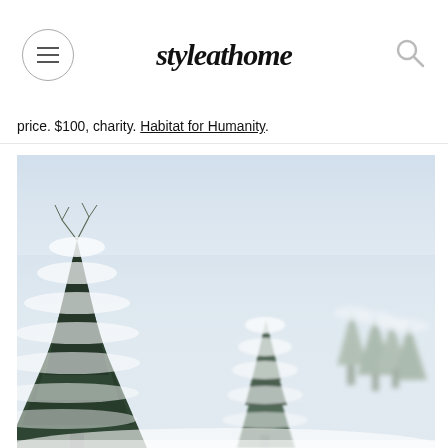styleathome
price. $100, charity. Habitat for Humanity.
[Figure (photo): Winter landscape photograph showing snow-covered evergreen trees against a pale blue-white sky. The trees are in the foreground, partially out of focus, dusted with snow. The background is a blurred, hazy winter scene.]